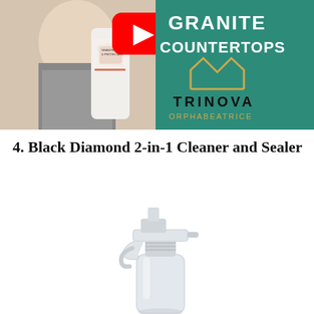[Figure (screenshot): YouTube video thumbnail showing a woman holding a TriNova Granite Sealer & Protectant bottle, with a red YouTube play button overlay. The right side has a teal background with white text reading 'GRANITE COUNTERTOPS', a gold crown logo, and 'TRINOVA ORPHABEATRICE' in dark and gold text.]
4. Black Diamond 2-in-1 Cleaner and Sealer
[Figure (photo): Photo of a clear/white plastic spray bottle (trigger sprayer) with a translucent body, shown against a white background.]